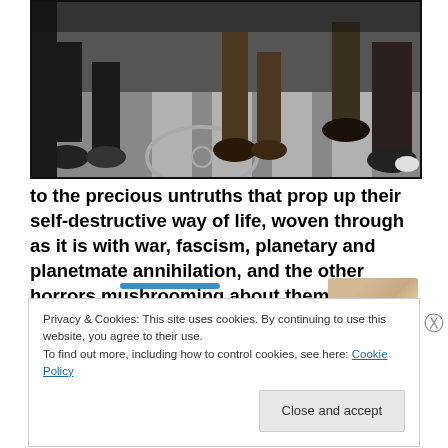[Figure (photo): Street-level photo showing legs and feet of people walking on a crosswalk/street, wearing dark shoes and pants]
to the precious untruths that prop up their self-destructive way of life, woven through as it is with war, fascism, planetary and planetmate annihilation, and the other horrors mushrooming about them in the postmodern era. [Footnote 2]
Privacy & Cookies: This site uses cookies. By continuing to use this website, you agree to their use.
To find out more, including how to control cookies, see here: Cookie Policy
Close and accept